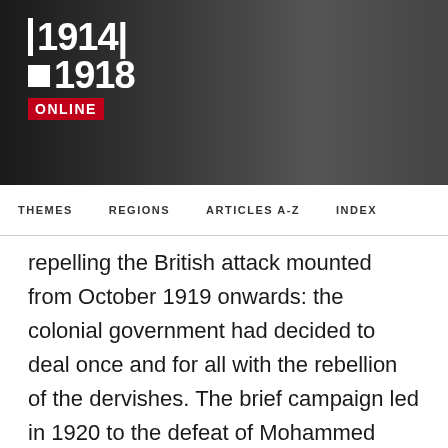[Figure (logo): 1914-1918 Online logo with red ONLINE badge on dark banner background]
THEMES   REGIONS   ARTICLES A-Z   INDEX
repelling the British attack mounted from October 1919 onwards: the colonial government had decided to deal once and for all with the rebellion of the dervishes. The brief campaign led in 1920 to the defeat of Mohammed Abdalla Hassan and to his death that same year.
As events in Somalia had made plain, the real danger for the colonial governments in the Horn of Africa arose